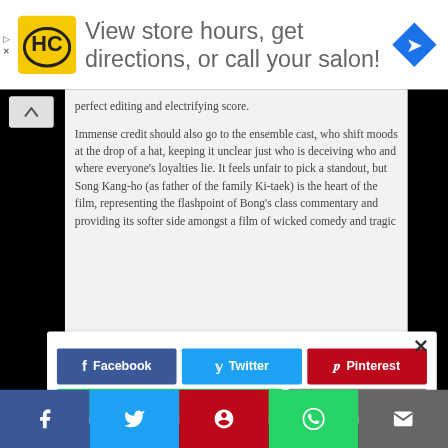[Figure (screenshot): Advertisement banner with HC logo and text: View store hours, get directions, or call your salon!]
perfect editing and electrifying score.
Immense credit should also go to the ensemble cast, who shift moods at the drop of a hat, keeping it unclear just who is deceiving who and where everyone's loyalties lie. It feels unfair to pick a standout, but Song Kang-ho (as father of the family Ki-taek) is the heart of the film, representing the flashpoint of Bong's class commentary and providing its softer side amongst a film of wicked comedy and tragic
[Figure (screenshot): Social share modal with Facebook, Twitter, Pinterest, WhatsApp, and other share buttons]
[Figure (screenshot): Bottom navigation bar with social share icons: Facebook, Twitter, Pinterest, WhatsApp, Email]